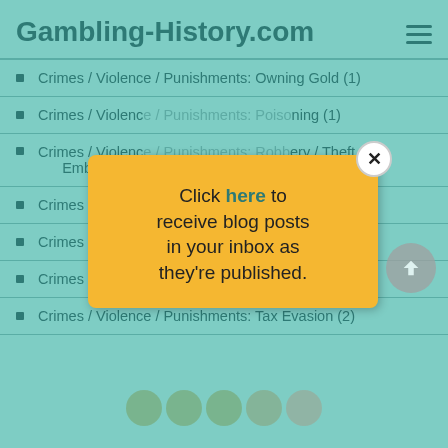Gambling-History.com
Crimes / Violence / Punishments: Owning Gold (1)
Crimes / Violence / Punishments: Poisoning (1)
Crimes / Violence / Punishments: Robbery / Theft / Embezzling (11)
[Figure (screenshot): Yellow popup modal with text: Click here to receive blog posts in your inbox as they're published. Close button (X) in top-right corner.]
Crimes / Violence / Punishments: Shooting (1)
Crimes / Violence / Punishments: Skimming (2)
Crimes / Violence / Punishments: Suicide (3)
Crimes / Violence / Punishments: Tax Evasion (2)